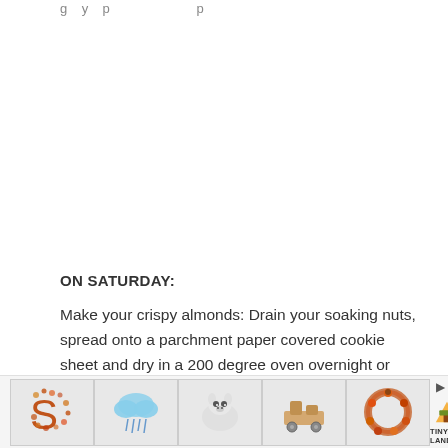g y p p
ON SATURDAY:
Make your crispy almonds: Drain your soaking nuts, spread onto a parchment paper covered cookie sheet and dry in a 200 degree oven overnight or until completely dried
ON SU
[Figure (infographic): Advertisement bar with product images: decorative S letter made of small items, cloud and rain illustration, dog/animal illustration, wooden toy blocks/cart, autumn wreath, and Tiny Land logo with play and close buttons]